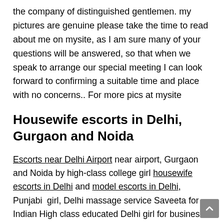the company of distinguished gentlemen. my pictures are genuine please take the time to read about me on mysite, as I am sure many of your questions will be answered, so that when we speak to arrange our special meeting I can look forward to confirming a suitable time and place with no concerns.. For more pics at mysite
Housewife escorts in Delhi, Gurgaon and Noida
Escorts near Delhi Airport near airport, Gurgaon and Noida by high-class college girl housewife escorts in Delhi and model escorts in Delhi, Punjabi girl, Delhi massage service Saveeta for Indian High class educated Delhi girl for business occasion, hotel or home Saveeta Delhi escort service in India, Gurgaon escorts, Gurugram, Noida escorts, Gurgaon, Noida, Chandigarh, female escort Delhi massage services in East Delhi, West Delhi, North Delhi and South Delhi Indian escorts are also available at